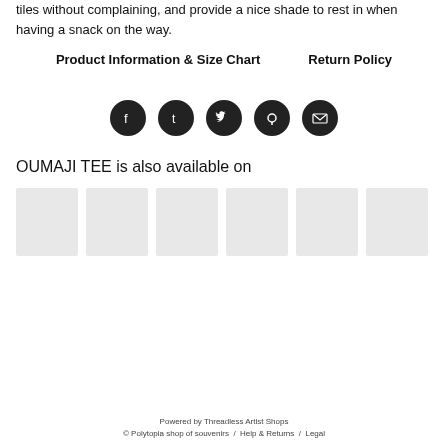tiles without complaining, and provide a nice shade to rest in when having a snack on the way.
Product Information & Size Chart    Return Policy
[Figure (infographic): Row of 5 social media icons (Facebook, Tumblr, Twitter, Pinterest, Email) as dark circular buttons]
OUMAJI TEE is also available on
[Figure (infographic): Row of 6 light gray product thumbnail placeholders]
Powered by Threadless Artist Shops
© Polytopia shop of souvenirs  /  Help & Returns  /  Legal